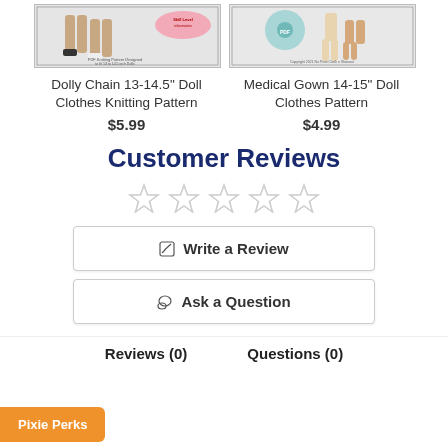[Figure (photo): Two product listing cards: left shows Dolly Chain 13-14.5 inch Doll Clothes Knitting Pattern cover; right shows Medical Gown 14-15 inch Doll Clothes Pattern cover]
Dolly Chain 13-14.5" Doll Clothes Knitting Pattern
$5.99
Medical Gown 14-15" Doll Clothes Pattern
$4.99
Customer Reviews
[Figure (other): Five empty/unfilled star rating icons]
✏ Write a Review
💬 Ask a Question
Reviews (0)
Questions (0)
Pixie Perks